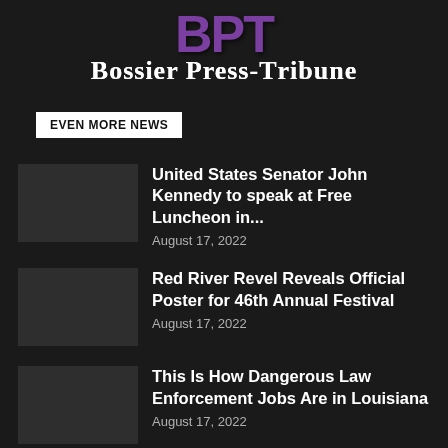[Figure (logo): Bossier Press-Tribune logo with purple BPT letters above the newspaper name]
EVEN MORE NEWS
United States Senator John Kennedy to speak at Free Luncheon in...
August 17, 2022
Red River Revel Reveals Official Poster for 46th Annual Festival
August 17, 2022
This Is How Dangerous Law Enforcement Jobs Are in Louisiana
August 17, 2022